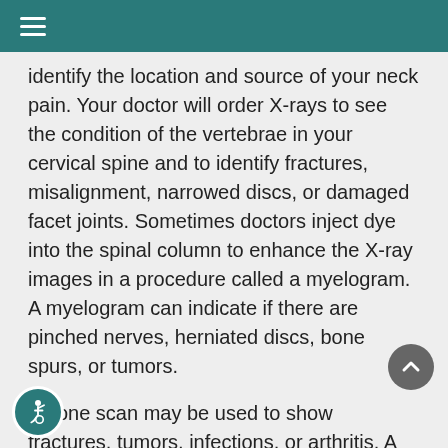☰
identify the location and source of your neck pain.  Your doctor will order X-rays to see the condition of the vertebrae in your cervical spine and to identify fractures, misalignment, narrowed discs, or damaged facet joints.  Sometimes doctors inject dye into the spinal column to enhance the X-ray images in a procedure called a myelogram.  A myelogram can indicate if there are pinched nerves, herniated discs, bone spurs, or tumors.
A bone scan may be used to show fractures, tumors, infections, or arthritis.  A bone scan requires that you receive a small harmless injection of a radioactive